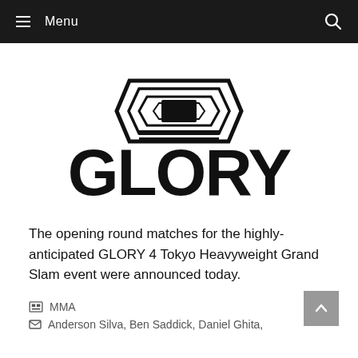Menu
[Figure (logo): GLORY kickboxing logo — geometric emblem above bold text reading GLORY]
The opening round matches for the highly-anticipated GLORY 4 Tokyo Heavyweight Grand Slam event were announced today.
MMA
Anderson Silva, Ben Saddick, Daniel Ghita,